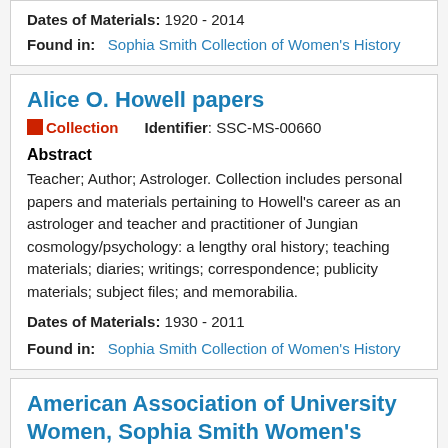Dates of Materials: 1920 - 2014
Found in: Sophia Smith Collection of Women's History
Alice O. Howell papers
Collection   Identifier: SSC-MS-00660
Abstract
Teacher; Author; Astrologer. Collection includes personal papers and materials pertaining to Howell's career as an astrologer and teacher and practitioner of Jungian cosmology/psychology: a lengthy oral history; teaching materials; diaries; writings; correspondence; publicity materials; subject files; and memorabilia.
Dates of Materials: 1930 - 2011
Found in: Sophia Smith Collection of Women's History
American Association of University